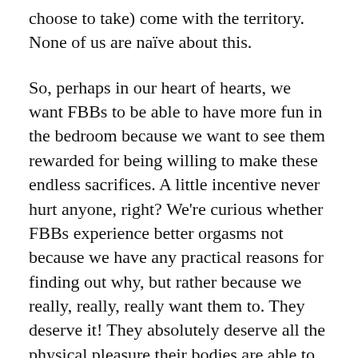choose to take) come with the territory. None of us are naïve about this.
So, perhaps in our heart of hearts, we want FBBs to be able to have more fun in the bedroom because we want to see them rewarded for being willing to make these endless sacrifices. A little incentive never hurt anyone, right? We're curious whether FBBs experience better orgasms not because we have any practical reasons for finding out why, but rather because we really, really, really want them to. They deserve it! They absolutely deserve all the physical pleasure their bodies are able to grant them. They spend so much time in the gym punishing their bodies. Why